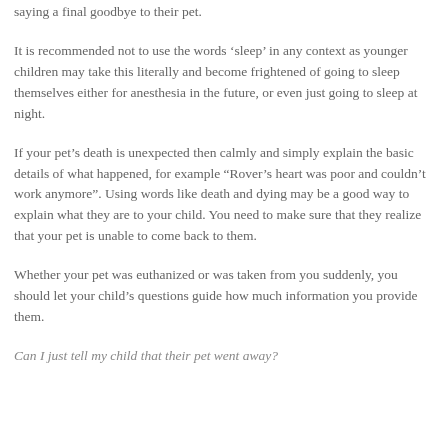saying a final goodbye to their pet.
It is recommended not to use the words ‘sleep’ in any context as younger children may take this literally and become frightened of going to sleep themselves either for anesthesia in the future, or even just going to sleep at night.
If your pet’s death is unexpected then calmly and simply explain the basic details of what happened, for example "Rover’s heart was poor and couldn’t work anymore". Using words like death and dying may be a good way to explain what they are to your child. You need to make sure that they realize that your pet is unable to come back to them.
Whether your pet was euthanized or was taken from you suddenly, you should let your child’s questions guide how much information you provide them.
Can I just tell my child that their pet went away?